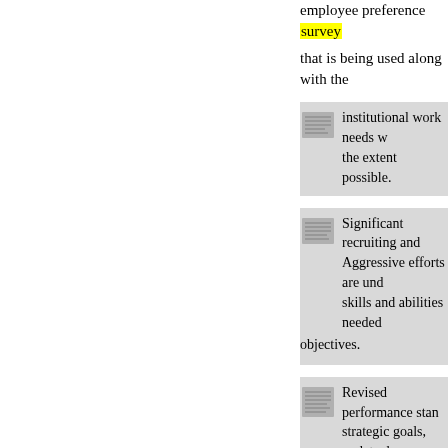employee preference survey that is being used along with the
institutional work needs w... the extent possible.
Significant recruiting and ... Aggressive efforts are und... skills and abilities needed ... objectives.
Revised performance star... strategic goals, update de... of GAO's work, and inclu... leadership by example, clie... year 2000, we began a majo... appraisal system for analyst... 2001, we will begin updatin... support staff to reflect preva...
Enhanced internal comm... throughout the agency. T... telecasts to all agency sta...